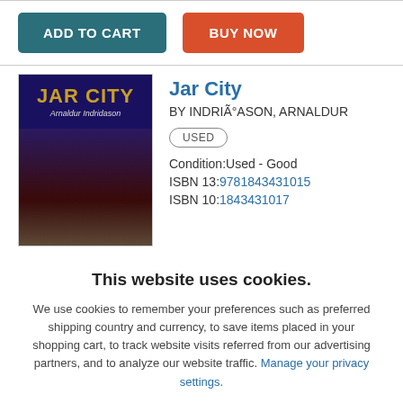[Figure (screenshot): ADD TO CART button (teal) and BUY NOW button (red-orange)]
[Figure (photo): Book cover of Jar City by Arnaldur Indridason with dark purple/blue background and crowd scene]
Jar City
BY INDRIÃASON, ARNALDUR
USED
Condition:Used - Good
ISBN 13:9781843431015
ISBN 10:1843431017
This website uses cookies.
We use cookies to remember your preferences such as preferred shipping country and currency, to save items placed in your shopping cart, to track website visits referred from our advertising partners, and to analyze our website traffic. Manage your privacy settings.
AGREE AND CLOSE